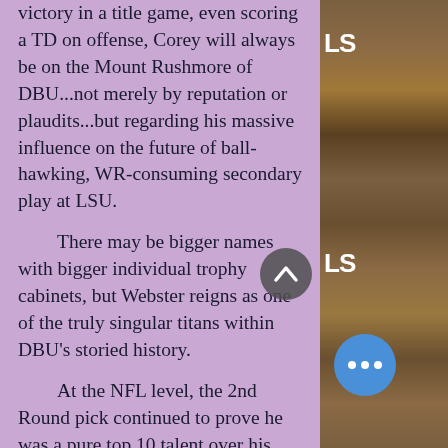victory in a title game, even scoring a TD on offense, Corey will always be on the Mount Rushmore of DBU...not merely by reputation or plaudits...but regarding his massive influence on the future of ball-hawking, WR-consuming secondary play at LSU.

There may be bigger names with bigger individual trophy cabinets, but Webster reigns as one of the truly singular titans within DBU's storied history.

At the NFL level, the 2nd Round pick continued to prove he was a pure top 10 talent over his lengthy career, winning a pair of Super Bowls in New York (beating the undefeated Patriots in one of the most miraculous Super Bowls of all time, before winning another vs
[Figure (photo): Photo of LSU football players in jerseys, right column]